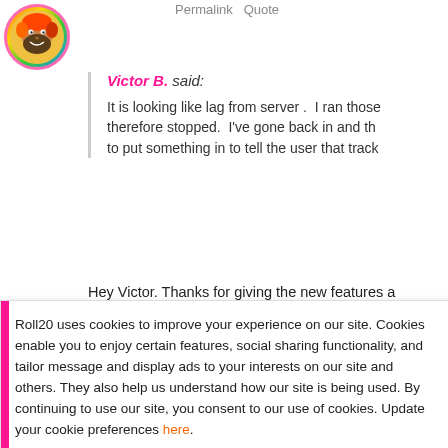[Figure (illustration): User avatar: circular profile picture with colorful illustrated face with beard, pink border]
Permalink  Quote
Victor B. said:
It is looking like lag from server .  I ran those therefore stopped.  I've gone back in and th to put something in to tell the user that track
Hey Victor. Thanks for giving the new features a your logic checks out. The track length and dur amount of audio has loaded.  It looks like you're
Roll20 uses cookies to improve your experience on our site. Cookies enable you to enjoy certain features, social sharing functionality, and tailor message and display ads to your interests on our site and others. They also help us understand how our site is being used. By continuing to use our site, you consent to our use of cookies. Update your cookie preferences here.
you're connected to, or a combination of those.
If you have the option, try testing by connecting